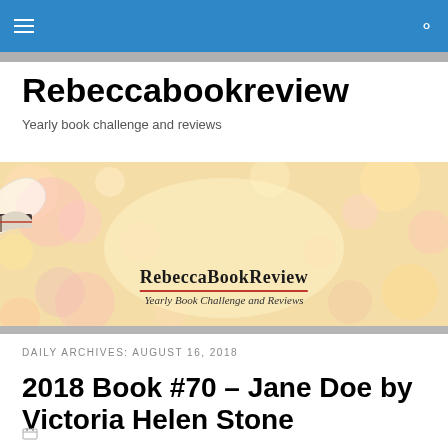Navigation bar with hamburger menu and search icon
Rebeccabookreview
Yearly book challenge and reviews
[Figure (illustration): RebeccaBookReview blog banner with bokeh background in warm pink and gold tones. Center shows an open book with a heart shape above it. Text reads 'RebeccaBookReview' in bold serif with a red underline, and below in script 'Yearly Book Challenge and Reviews'.]
DAILY ARCHIVES: AUGUST 16, 2018
2018 Book #70 – Jane Doe by Victoria Helen Stone